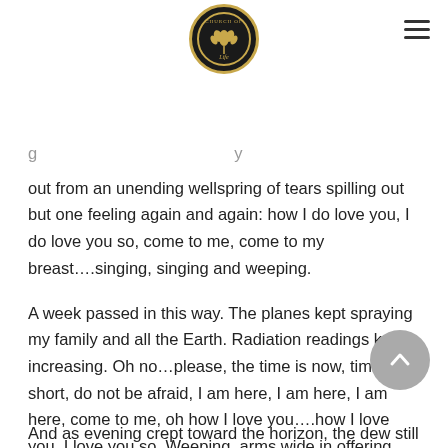[Figure (logo): Church of Life circular logo with tree illustration in gold on black background]
out from an unending wellspring of tears spilling out but one feeling again and again: how I do love you, I do love you so, come to me, come to my breast….singing, singing and weeping.
A week passed in this way. The planes kept spraying my family and all the Earth. Radiation readings kept increasing. Oh no…please, the time is now, time is short, do not be afraid, I am here, I am here, I am here, come to me, oh how I love you….how I love you, I love you so. Weeping, arms wide in offering, walking for miles alone in the wilderness.
And as evening crept toward the horizon, the dew still wet